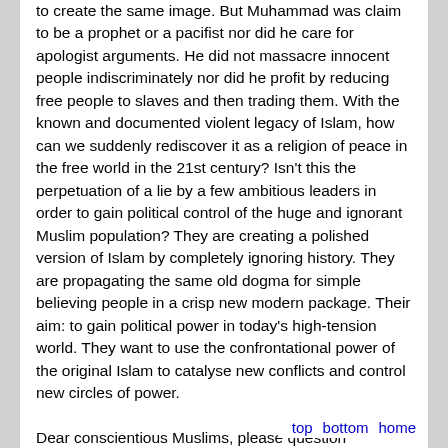to create the same image. But Muhammad was claim to be a prophet or a pacifist nor did he care for apologist arguments. He did not massacre innocent people indiscriminately nor did he profit by reducing free people to slaves and then trading them. With the known and documented violent legacy of Islam, how can we suddenly rediscover it as a religion of peace in the free world in the 21st century? Isn't this the perpetuation of a lie by a few ambitious leaders in order to gain political control of the huge and ignorant Muslim population? They are creating a polished version of Islam by completely ignoring history. They are propagating the same old dogma for simple believing people in a crisp new modern package. Their aim: to gain political power in today's high-tension world. They want to use the confrontational power of the original Islam to catalyse new conflicts and control new circles of power.

Dear conscientious Muslims, please question yourselves. Isn't this compulsive following of a man who lived 1400 years ago leading us to doom in a changing world? Do the followers of any other religion follow one man in such an all-encompassing way? Who are we deceiving, them or ourselves? Dear brothers and sisters, see ho... (people) has sunk into poverty and how it lag...
top  bottom  home